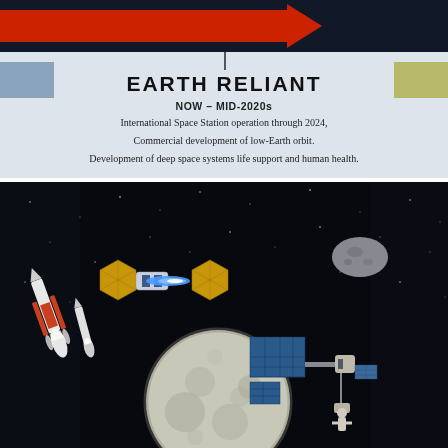[Figure (infographic): Top portion of NASA 'Journey to Mars' infographic showing a red arrow on dark background at top, blue and tan color swatches on sides, and a vertical timeline marker]
EARTH RELIANT
NOW – MID-2020s
International Space Station operation through 2024. Commercial development of low-Earth orbit.
Development of deep space systems life support and human health.
[Figure (illustration): Space scene illustration showing spacecraft with golden solar panels (resembling a deep space habitat/solar electric propulsion vehicle) firing blue thruster toward an asteroid, rockets launching from bottom left (SLS), the Moon in lower center, and a space station/Gateway with solar arrays on the right side. Dark starfield background.]